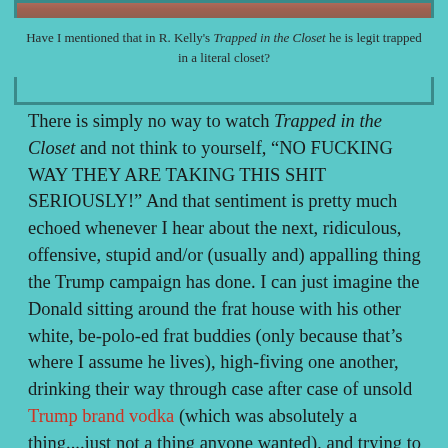[Figure (photo): Partial photo strip at the top of the page, showing a cropped image]
Have I mentioned that in R. Kelly's Trapped in the Closet he is legit trapped in a literal closet?
There is simply no way to watch Trapped in the Closet and not think to yourself, “NO FUCKING WAY THEY ARE TAKING THIS SHIT SERIOUSLY!” And that sentiment is pretty much echoed whenever I hear about the next, ridiculous, offensive, stupid and/or (usually and) appalling thing the Trump campaign has done. I can just imagine the Donald sitting around the frat house with his other white, be-polo-ed frat buddies (only because that’s where I assume he lives), high-fiving one another, drinking their way through case after case of unsold Trump brand vodka (which was absolutely a thing....just not a thing anyone wanted), and trying to think of the next absurd thing that Trump is going to say or do that will inevitably get him more headlines, more recognition and possibly, more votes.